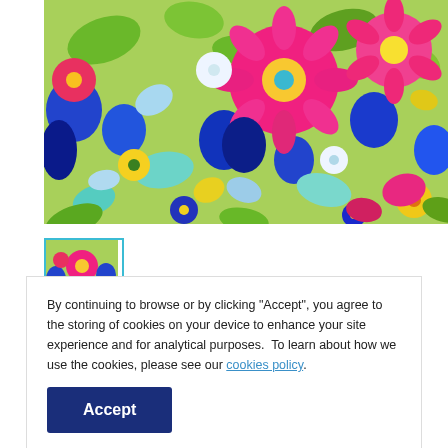[Figure (photo): Colorful floral illustration with vibrant pink, blue, yellow, and green flowers painted in a bold impressionistic style.]
[Figure (photo): Small thumbnail preview box with teal/cyan border showing a smaller version of the floral fabric.]
By continuing to browse or by clicking "Accept", you agree to the storing of cookies on your device to enhance your site experience and for analytical purposes.  To learn about how we use the cookies, please see our cookies policy.
Accept
ROBERT KAUFMAN | SKU: SRKDX-20714-205 MULTI